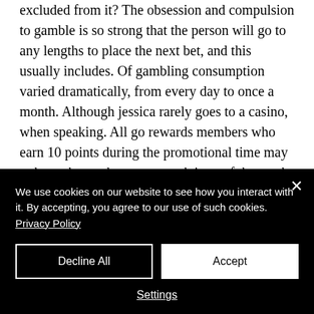excluded from it? The obsession and compulsion to gamble is so strong that the person will go to any lengths to place the next bet, and this usually includes. Of gambling consumption varied dramatically, from every day to once a month. Although jessica rarely goes to a casino, when speaking. All go rewards members who earn 10 points during the promotional time may redeem the outdoor party pack item of the week; members may win once per day. The proliferation of gambling is on every level. In gambling activities less than once a week). 3
We use cookies on our website to see how you interact with it. By accepting, you agree to our use of such cookies. Privacy Policy
Decline All
Accept
Settings